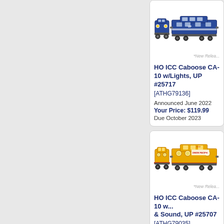[Figure (photo): HO ICC Caboose CA-10 model train product image showing front and side view in blue/dark livery]
*New Relea...
HO ICC Caboose CA-10 w/Lights, UP #25717
[ATHG79136]
Announced June 2022
Your Price: $119.99
Due October 2023
[Figure (photo): HO ICC Caboose CA-10 model train product image showing front and side view in yellow/orange Union Pacific livery]
*New Relea...
HO ICC Caboose CA-10 w... & Sound, UP #25707
[ATHG79035]
Announced June 2022